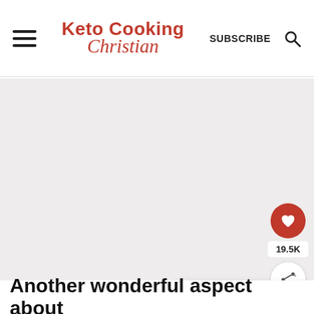Keto Cooking Christian — SUBSCRIBE
[Figure (photo): Large food photo area (light gray placeholder)]
[Figure (infographic): Heart/like button with 19.5K count and share button on right sidebar]
[Figure (infographic): What's Next card showing Spinach Artichoke... with thumbnail]
Another wonderful aspect about